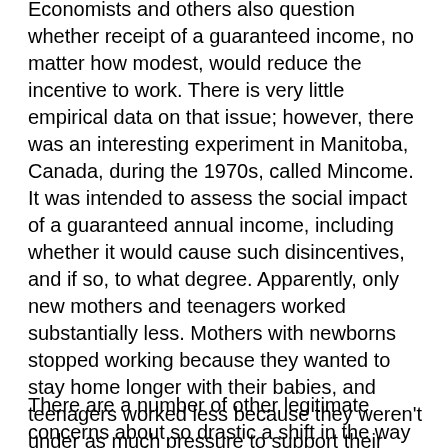Economists and others also question whether receipt of a guaranteed income, no matter how modest, would reduce the incentive to work. There is very little empirical data on that issue; however, there was an interesting experiment in Manitoba, Canada, during the 1970s, called Mincome. It was intended to assess the social impact of a guaranteed annual income, including whether it would cause such disincentives, and if so, to what degree. Apparently, only new mothers and teenagers worked substantially less. Mothers with newborns stopped working because they wanted to stay home longer with their babies, and teenagers worked less because they weren’t under as much pressure to support their families, which resulted in more teenagers graduating. However, participants knew the project was not permanent, and it is impossible to know whether—and how—that knowledge affected the results.
There are a number of other legitimate concerns about so drastic a shift in the way we discharge our obligations to our